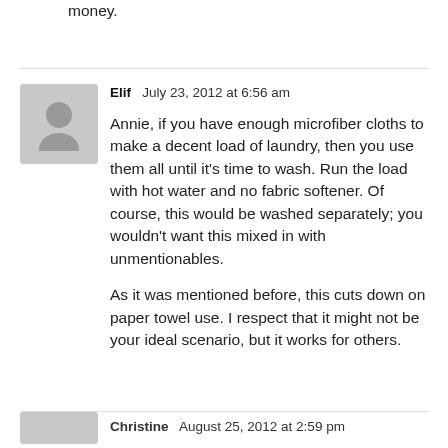money.
Elif  July 23, 2012 at 6:56 am

Annie, if you have enough microfiber cloths to make a decent load of laundry, then you use them all until it's time to wash. Run the load with hot water and no fabric softener. Of course, this would be washed separately; you wouldn't want this mixed in with unmentionables.

As it was mentioned before, this cuts down on paper towel use. I respect that it might not be your ideal scenario, but it works for others.
Christine  August 25, 2012 at 2:59 pm